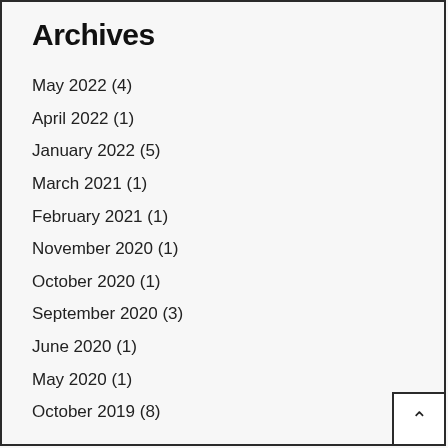Archives
May 2022 (4)
April 2022 (1)
January 2022 (5)
March 2021 (1)
February 2021 (1)
November 2020 (1)
October 2020 (1)
September 2020 (3)
June 2020 (1)
May 2020 (1)
October 2019 (8)